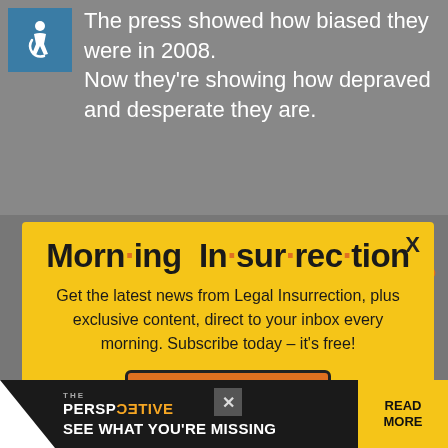The press showed how biased they were in 2008. Now they're showing how depraved and desperate they are.
[Figure (illustration): Blue accessibility icon showing a person in a wheelchair]
[Figure (infographic): Morning Insurrection modal popup with yellow background. Title: Morning Insurrection. Body: Get the latest news from Legal Insurrection, plus exclusive content, direct to your inbox every morning. Subscribe today – it's free! Button: JOIN NOW. Close X in top right.]
can to choose the weakest candidate possible for us. Then
being a far-left Democrat.
[Figure (infographic): Bottom banner: THE PERSPECTIVE / SEE WHAT YOU'RE MISSING / READ MORE]